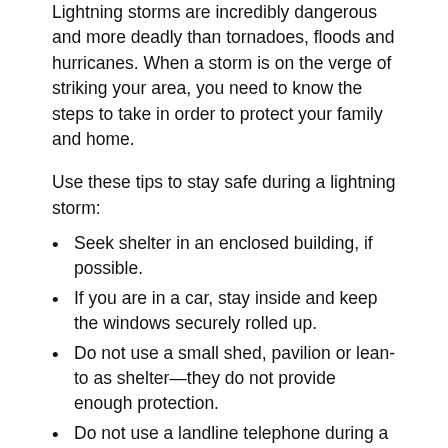Lightning storms are incredibly dangerous and more deadly than tornadoes, floods and hurricanes. When a storm is on the verge of striking your area, you need to know the steps to take in order to protect your family and home.
Use these tips to stay safe during a lightning storm:
Seek shelter in an enclosed building, if possible.
If you are in a car, stay inside and keep the windows securely rolled up.
Do not use a small shed, pavilion or lean-to as shelter—they do not provide enough protection.
Do not use a landline telephone during a storm. Instead, use a cellular or cordless phone that is not connected to the building's wiring.
If you're outside during a lightning storm, get as close to the ground as possible without placing your hands or knees on the ground.
Avoid seeking shelter near trees, metal fences, pipes or tall and long objects.